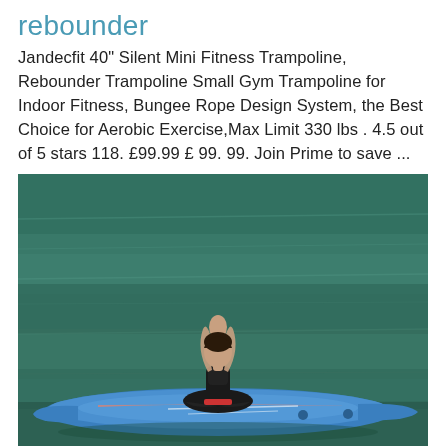rebounder
Jandecfit 40" Silent Mini Fitness Trampoline, Rebounder Trampoline Small Gym Trampoline for Indoor Fitness, Bungee Rope Design System, the Best Choice for Aerobic Exercise,Max Limit 330 lbs . 4.5 out of 5 stars 118. £99.99 £ 99. 99. Join Prime to save ...
[Figure (photo): A woman in a black swimsuit performing a yoga pose (arms raised together overhead, seated cross-legged) on a blue paddleboard floating on green ocean water.]
... (partial caption below image)